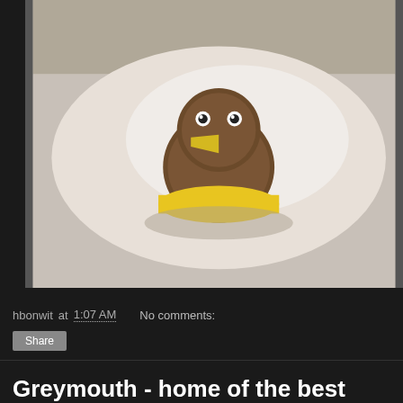[Figure (photo): Photo of a small stuffed kiwi bird toy with yellow beak and googly eyes, sitting on a light surface with bright sunlight]
hbonwit at 1:07 AM    No comments:
Share
Greymouth - home of the best hostel in the world...
... or so I think, in my rather limited experience...
[Figure (photo): Outdoor photo showing two people in sunglasses with a coastal landscape and hills/mountains in the background at dusk or golden hour]